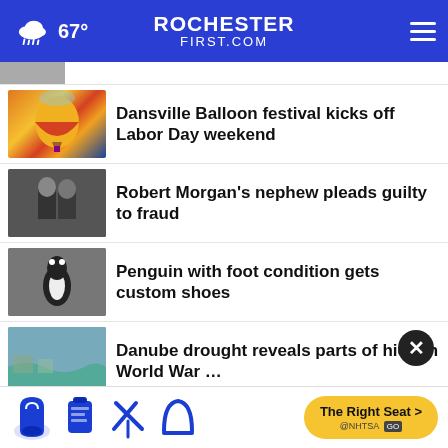67° ROCHESTERFIRST.COM
Dansville Balloon festival kicks off Labor Day weekend
Robert Morgan's nephew pleads guilty to fraud
Penguin with foot condition gets custom shoes
Danube drought reveals parts of hidden World War …
Araiza attorney: Punter receiving death threats
condition
[Figure (screenshot): NHTSA car seat safety advertisement banner with icons and 'The Right Seat >' call to action button]